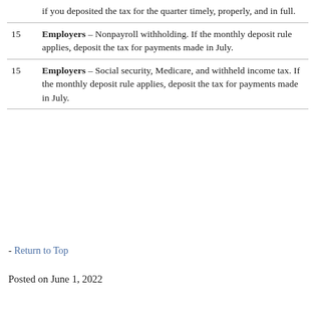| Date | Description |
| --- | --- |
|  | if you deposited the tax for the quarter timely, properly, and in full. |
| 15 | Employers - Nonpayroll withholding. If the monthly deposit rule applies, deposit the tax for payments made in July. |
| 15 | Employers - Social security, Medicare, and withheld income tax. If the monthly deposit rule applies, deposit the tax for payments made in July. |
- Return to Top
Posted on June 1, 2022